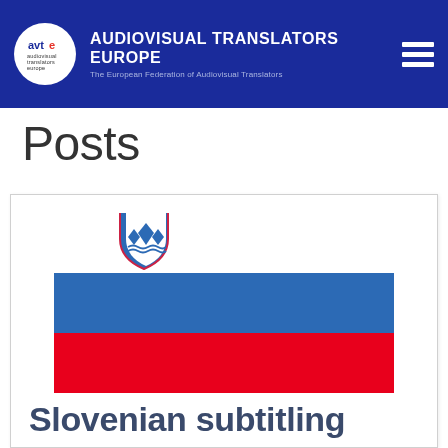AUDIOVISUAL TRANSLATORS EUROPE – The European Federation of Audiovisual Translators
Posts
[Figure (illustration): Slovenian national flag with coat of arms (shield with mountain and stars), shown as a horizontal tricolor: white, blue, red.]
Slovenian subtitling